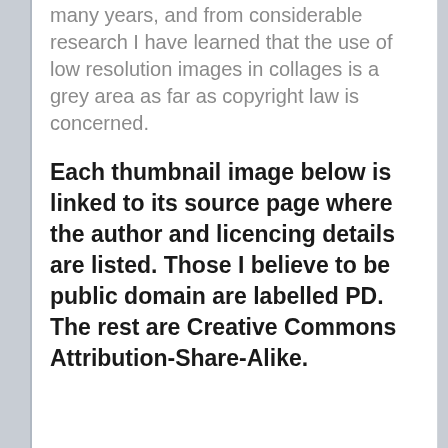many years, and from considerable research I have learned that the use of low resolution images in collages is a grey area as far as copyright law is concerned.
Each thumbnail image below is linked to its source page where the author and licencing details are listed. Those I believe to be public domain are labelled PD. The rest are Creative Commons Attribution-Share-Alike.